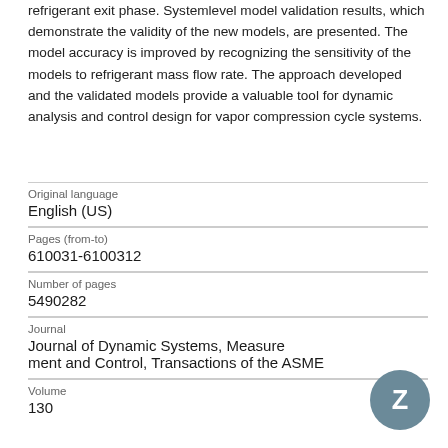refrigerant exit phase. Systemlevel model validation results, which demonstrate the validity of the new models, are presented. The model accuracy is improved by recognizing the sensitivity of the models to refrigerant mass flow rate. The approach developed and the validated models provide a valuable tool for dynamic analysis and control design for vapor compression cycle systems.
| Original language | English (US) |
| Pages (from-to) | 610031-6100312 |
| Number of pages | 5490282 |
| Journal | Journal of Dynamic Systems, Measurement and Control, Transactions of the ASME |
| Volume | 130 |